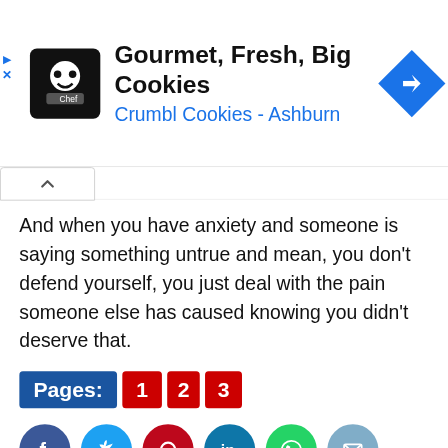[Figure (screenshot): Advertisement banner for Crumbl Cookies – Ashburn. Shows a cookie chef logo icon (black background), headline 'Gourmet, Fresh, Big Cookies', subline 'Crumbl Cookies – Ashburn', and a blue diamond navigation icon. Small play and close (X) ad controls on the left.]
And when you have anxiety and someone is saying something untrue and mean, you don't defend yourself, you just deal with the pain someone else has caused knowing you didn't deserve that.
Pages: 1 2 3
[Figure (infographic): Row of social share buttons: Facebook (dark blue circle with f), Twitter (light blue circle with bird), Pinterest (red circle with P), LinkedIn (teal circle with in), WhatsApp (green circle with phone), Email (light blue circle with envelope).]
Tags: BETTER LIVING | EMOTIONAL ABUSE | EMOTIONALLY ABUSIVE RELATIONSHIP | LIFE HACKS | MINDS JOURNAL | SELF CARE | SELF HELP BLOGS